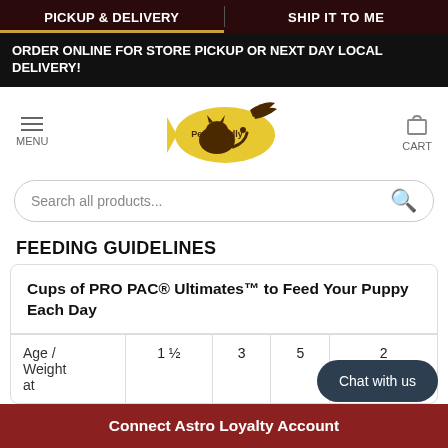PICKUP & DELIVERY | SHIP IT TO ME
ORDER ONLINE FOR STORE PICKUP OR NEXT DAY LOCAL DELIVERY!
[Figure (logo): Pet Friendly store logo with cat silhouette and yellow background]
Search all products...
FEEDING GUIDELINES
| Age / Weight at | 1 ½ | 3 | 5 | 2 Years |
| --- | --- | --- | --- | --- |
Chat with us
Connect Astro Loyalty Account